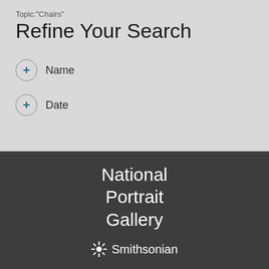Topic:"Chairs"
Refine Your Search
+ Name
+ Date
[Figure (logo): National Portrait Gallery Smithsonian logo in white text on dark gray background]